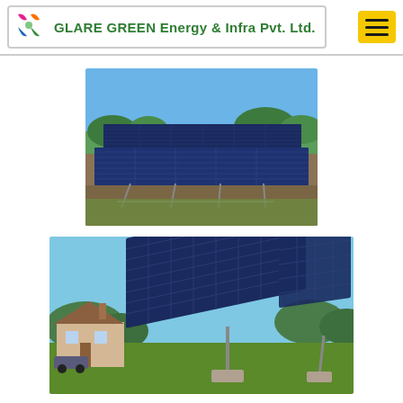GLARE GREEN Energy & Infra Pvt. Ltd.
[Figure (photo): Solar panel array mounted on metal frames in an open field with blue sky and trees in background]
[Figure (photo): Large ground-mounted tilting solar panel array near a residential house with clear blue sky background and grass lawn]